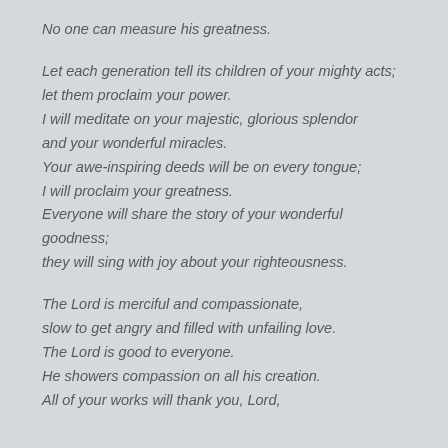No one can measure his greatness.
Let each generation tell its children of your mighty acts; let them proclaim your power. I will meditate on your majestic, glorious splendor and your wonderful miracles. Your awe-inspiring deeds will be on every tongue; I will proclaim your greatness. Everyone will share the story of your wonderful goodness; they will sing with joy about your righteousness.
The Lord is merciful and compassionate, slow to get angry and filled with unfailing love. The Lord is good to everyone. He showers compassion on all his creation. All of your works will thank you, Lord,